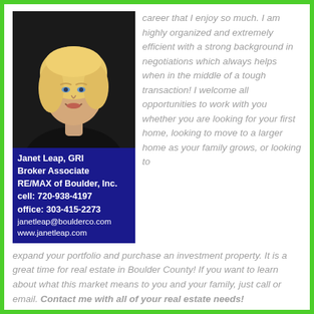[Figure (photo): Professional headshot of Janet Leap, a blonde woman smiling, wearing a black top, against a dark background]
Janet Leap, GRI
Broker Associate
RE/MAX of Boulder, Inc.
cell: 720-938-4197
office: 303-415-2273
janetleap@boulderco.com
www.janetleap.com
career that I enjoy so much. I am highly organized and extremely efficient with a strong background in negotiations which always helps when in the middle of a tough transaction! I welcome all opportunities to work with you whether you are looking for your first home, looking to move to a larger home as your family grows, or looking to expand your portfolio and purchase an investment property. It is a great time for real estate in Boulder County! If you want to learn about what this market means to you and your family, just call or email. Contact me with all of your real estate needs!